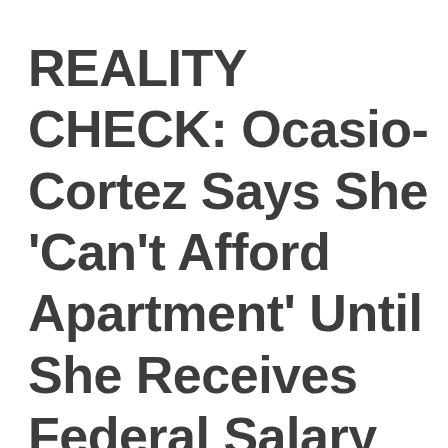REALITY CHECK: Ocasio-Cortez Says She ‘Can’t Afford Apartment’ Until She Receives Federal Salary